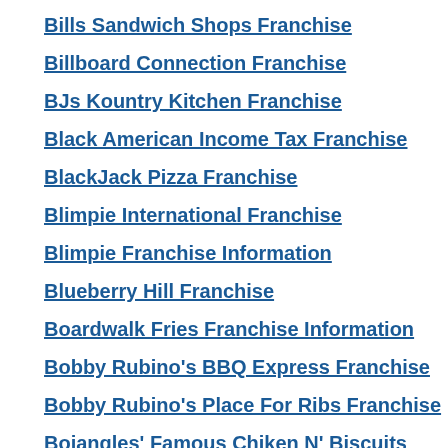Bills Sandwich Shops Franchise
Billboard Connection Franchise
BJs Kountry Kitchen Franchise
Black American Income Tax Franchise
BlackJack Pizza Franchise
Blimpie International Franchise
Blimpie Franchise Information
Blueberry Hill Franchise
Boardwalk Fries Franchise Information
Bobby Rubino's BBQ Express Franchise
Bobby Rubino's Place For Ribs Franchise
Bojangles' Famous Chiken N' Biscuits Franchise
Boston Beanery Restaurant & Tavern Franchise
Box Lunch Franchise
Boz Franchise
mobility franc
32° A Yogurt B
Kalologie 360 ·
Philly Pretze
American Ma
Minuteman Pr